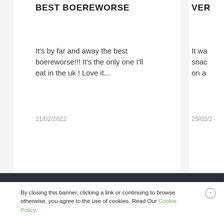BEST BOEREWORSE
It's by far and away the best boereworse!!! It's the only one I'll eat in the uk ! Love it...
21/02/2022
VER
It wa snac on a
25/02/2
By closing this banner, clicking a link or continuing to browse otherwise, you agree to the use of cookies. Read Our Cookie Policy